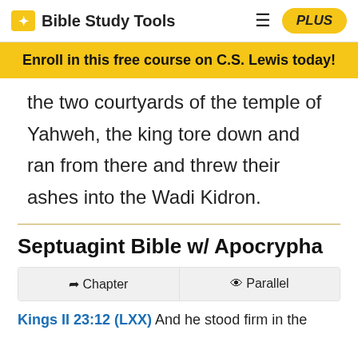Bible Study Tools
Enroll in this free course on C.S. Lewis today!
the two courtyards of the temple of Yahweh, the king tore down and ran from there and threw their ashes into the Wadi Kidron.
Septuagint Bible w/ Apocrypha
Chapter  |  Parallel
Kings II 23:12 (LXX) And he stood firm in the